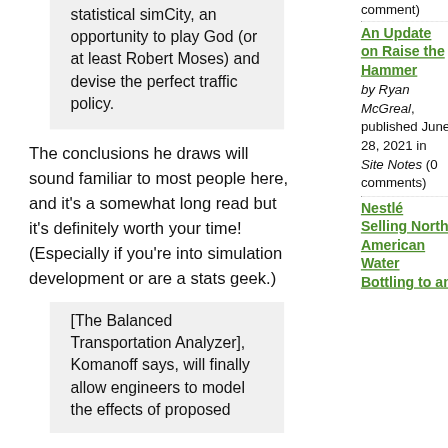statistical simCity, an opportunity to play God (or at least Robert Moses) and devise the perfect traffic policy.
The conclusions he draws will sound familiar to most people here, and it's a somewhat long read but it's definitely worth your time! (Especially if you're into simulation development or are a stats geek.)
[The Balanced Transportation Analyzer], Komanoff says, will finally allow engineers to model the effects of proposed
comment)
An Update on Raise the Hammer by Ryan McGreal, published June 28, 2021 in Site Notes (0 comments)
Nestlé Selling North American Water Bottling to an